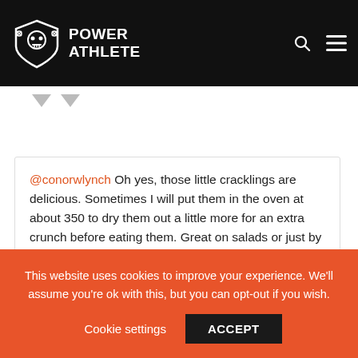Power Athlete
@conorwlynch Oh yes, those little cracklings are delicious. Sometimes I will put them in the oven at about 350 to dry them out a little more for an extra crunch before eating them. Great on salads or just by themselves. And don't worry, I got a freezer full. . .
Reply
josh on January 18, 2015 at 10:07 pm
This website uses cookies to improve your experience. We'll assume you're ok with this, but you can opt-out if you wish. Cookie settings ACCEPT